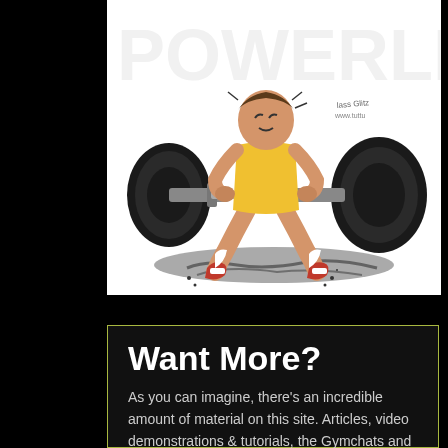[Figure (illustration): Cartoon illustration of a weightlifter/powerlifter performing a squat or deadlift with a heavy barbell loaded with large black plates. The athlete wears red shoes and white socks. The background shows stylized text (appears to say something like 'powerlifter'). An artist signature appears in the lower right of the illustration.]
Want More?
As you can imagine, there's an incredible amount of material on this site. Articles, video demonstrations & tutorials, the Gymchats and a whole lot more. To keep up with everything going